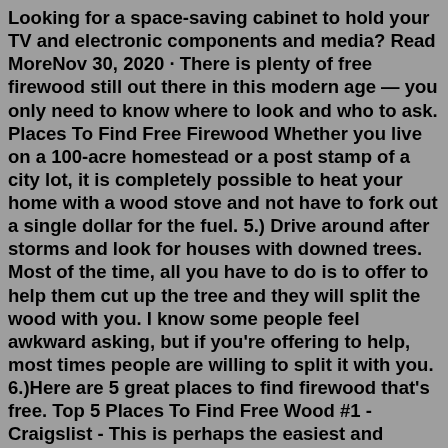Looking for a space-saving cabinet to hold your TV and electronic components and media? Read MoreNov 30, 2020 · There is plenty of free firewood still out there in this modern age — you only need to know where to look and who to ask. Places To Find Free Firewood Whether you live on a 100-acre homestead or a post stamp of a city lot, it is completely possible to heat your home with a wood stove and not have to fork out a single dollar for the fuel. 5.) Drive around after storms and look for houses with downed trees. Most of the time, all you have to do is to offer to help them cut up the tree and they will split the wood with you. I know some people feel awkward asking, but if you're offering to help, most times people are willing to split it with you. 6.)Here are 5 great places to find firewood that's free. Top 5 Places To Find Free Wood #1 - Craigslist - This is perhaps the easiest and cheapest way to find firewood. A simple search will usually give you several options to choose from. Or, post a "wanted add" yourself and let the people contact you. 1. Craigslist